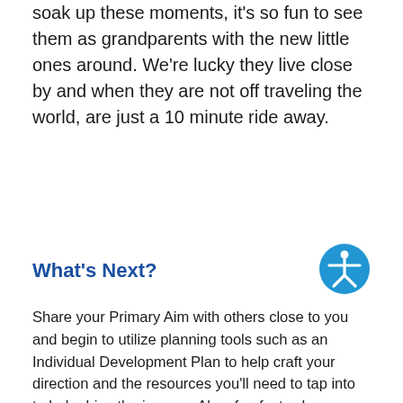soak up these moments, it's so fun to see them as grandparents with the new little ones around. We're lucky they live close by and when they are not off traveling the world, are just a 10 minute ride away.
What's Next?
[Figure (illustration): Accessibility icon — a blue circle with a white stick figure person with arms outstretched, representing accessibility.]
Share your Primary Aim with others close to you and begin to utilize planning tools such as an Individual Development Plan to help craft your direction and the resources you'll need to tap into to help drive the journey. Also, fun fact: when you share it with others, you've automatically created informal accountability partners who will want to help you achieve your vision!
Since that podcast was released, there has been increased interest among many of our clients and NCG Team Members to focus on writing or updating their existing Primary Aims. The sharing has